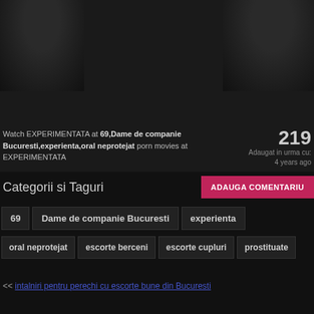[Figure (photo): Dark background photo showing feet/shoes, cropped at top of page]
Watch EXPERIMENTATA at 69,Dame de companie Bucuresti,experienta,oral neprotejat porn movies at EXPERIMENTATA
219
Adaugat in urma cu:
4 years ago
Categorii si Taguri
ADAUGA COMENTARIU
69
Dame de companie Bucuresti
experienta
oral neprotejat
escorte berceni
escorte cupluri
prostituate
<< intalniri pentru perechi cu escorte bune din Bucuresti